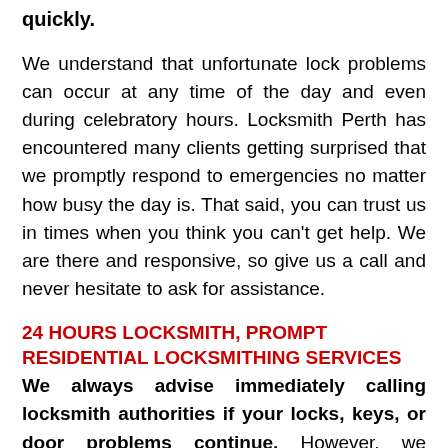quickly.
We understand that unfortunate lock problems can occur at any time of the day and even during celebratory hours. Locksmith Perth has encountered many clients getting surprised that we promptly respond to emergencies no matter how busy the day is. That said, you can trust us in times when you think you can't get help. We are there and responsive, so give us a call and never hesitate to ask for assistance.
24 HOURS LOCKSMITH, PROMPT RESIDENTIAL LOCKSMITHING SERVICES
We always advise immediately calling locksmith authorities if your locks, keys, or door problems continue. However, we recognise that sometimes you are pressured into having an outright solution to your problem. This understanding is why our responsiveness is always there the moment you call.